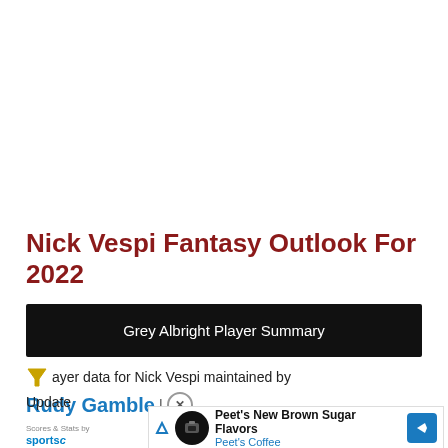Nick Vespi Fantasy Outlook For 2022
Grey Albright Player Summary
Player data for Nick Vespi maintained by Rudy Gamble |
Update
[Figure (screenshot): Peet's Coffee advertisement banner showing Peet's Coffee logo, text 'Peet's New Brown Sugar Flavors' and 'Peet's Coffee', with a blue navigation arrow icon on the right]
Scores & Stats by sportsc...